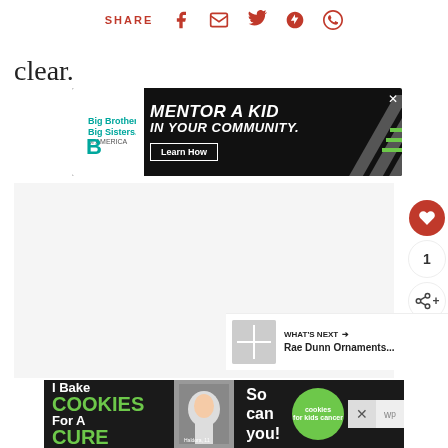SHARE
clear.
[Figure (infographic): Advertisement banner for Big Brothers Big Sisters of America: 'MENTOR A KID IN YOUR COMMUNITY.' with a Learn How button]
[Figure (photo): Main content image area (large white/empty area)]
[Figure (infographic): Right sidebar with heart/like button showing count 1 and share button]
[Figure (infographic): WHAT'S NEXT section with thumbnail - Rae Dunn Ornaments...]
[Figure (infographic): Bottom advertisement: I Bake COOKIES For A CURE - So can you! - Haldora, 11 Cancer Survivor]